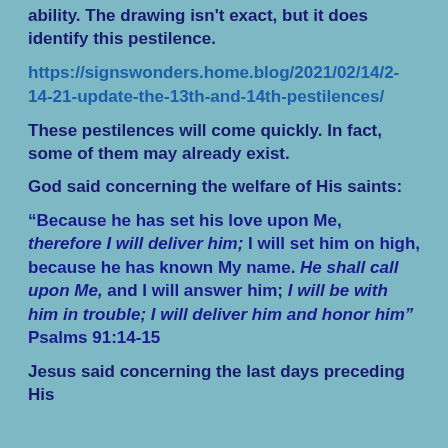ability. The drawing isn't exact, but it does identify this pestilence.
https://signswonders.home.blog/2021/02/14/2-14-21-update-the-13th-and-14th-pestilences/
These pestilences will come quickly. In fact, some of them may already exist.
God said concerning the welfare of His saints:
“Because he has set his love upon Me, therefore I will deliver him; I will set him on high, because he has known My name. He shall call upon Me, and I will answer him; I will be with him in trouble; I will deliver him and honor him” Psalms 91:14-15
Jesus said concerning the last days preceding His